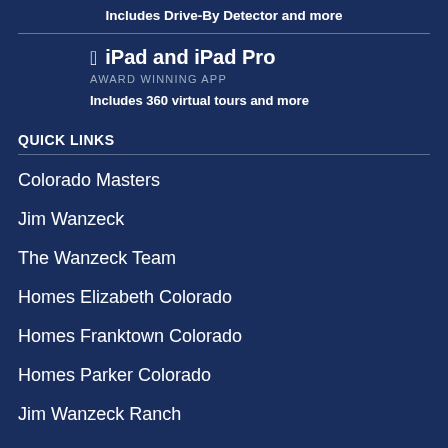Includes Drive-By Detector and more
iPad and iPad Pro
AWARD WINNING APP
Includes 360 virtual tours and more
QUICK LINKS
Colorado Masters
Jim Wanzeck
The Wanzeck Team
Homes Elizabeth Colorado
Homes Franktown Colorado
Homes Parker Colorado
Jim Wanzeck Ranch